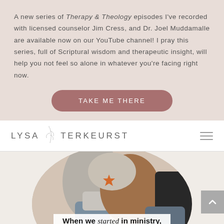A new series of Therapy & Theology episodes I've recorded with licensed counselor Jim Cress, and Dr. Joel Muddamalle are available now on our YouTube channel! I pray this series, full of Scriptural wisdom and therapeutic insight, will help you not feel so alone in whatever you're facing right now.
TAKE ME THERE
LYSA TERKEURST
[Figure (photo): Oval-framed photo of two women sitting together, one with a laptop, overlaid with text: 'When we started in ministry, we started at zero, too.' An orange star decoration is visible at the top left of the oval.]